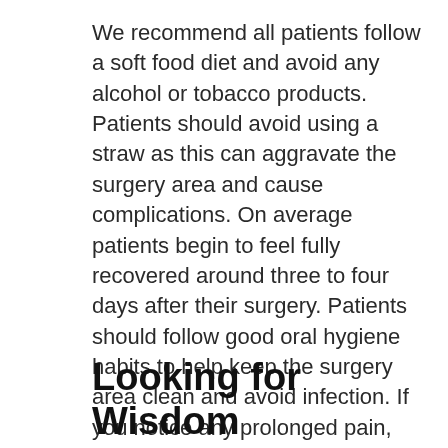We recommend all patients follow a soft food diet and avoid any alcohol or tobacco products. Patients should avoid using a straw as this can aggravate the surgery area and cause complications. On average patients begin to feel fully recovered around three to four days after their surgery. Patients should follow good oral hygiene habits to help keep the surgery area clean and avoid infection. If you notice any prolonged pain, swelling, or bleeding that does not subside, please call our office to be seen right away.
Looking for Wisdom Teeth Removal and